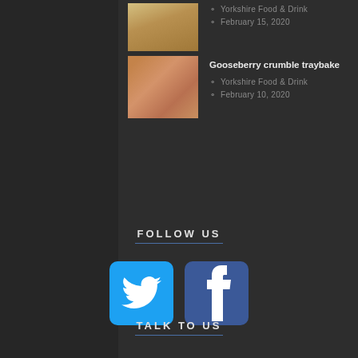[Figure (photo): Thumbnail of stacked pancakes on a plate]
Yorkshire Food & Drink
February 15, 2020
Gooseberry crumble traybake
[Figure (photo): Thumbnail of gooseberry crumble traybake pieces]
Yorkshire Food & Drink
February 10, 2020
FOLLOW US
[Figure (logo): Twitter logo - white bird on blue rounded square button]
[Figure (logo): Facebook logo - white f on blue rounded square button]
TALK TO US